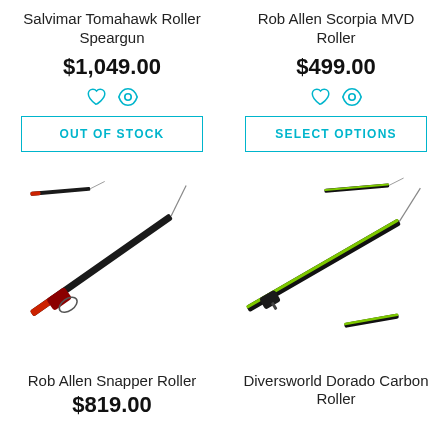Salvimar Tomahawk Roller Speargun
$1,049.00
OUT OF STOCK
Rob Allen Scorpia MVD Roller
$499.00
SELECT OPTIONS
[Figure (photo): Rob Allen Snapper Roller speargun, long black rod with red handle, shown at diagonal angle]
[Figure (photo): Diversworld Dorado Carbon Roller speargun, black and green carbon body, shown at diagonal angle]
Rob Allen Snapper Roller
Diversworld Dorado Carbon Roller
$819.00